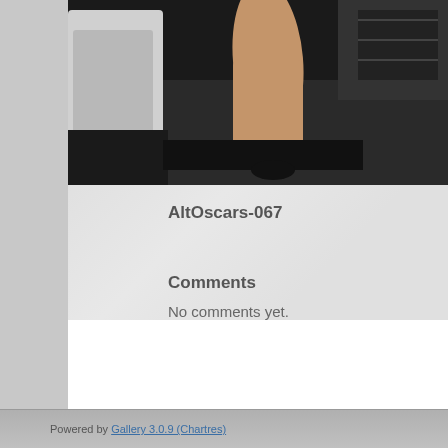[Figure (photo): Partial view of a person's legs near a vehicle or machine interior, dark carpet floor visible]
AltOscars-067
Comments
No comments yet.
Powered by Gallery 3.0.9 (Chartres)